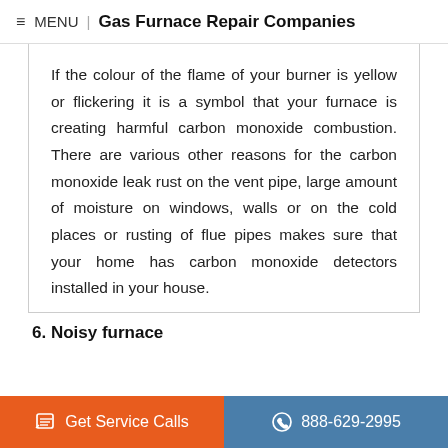≡ MENU | Gas Furnace Repair Companies
If the colour of the flame of your burner is yellow or flickering it is a symbol that your furnace is creating harmful carbon monoxide combustion. There are various other reasons for the carbon monoxide leak rust on the vent pipe, large amount of moisture on windows, walls or on the cold places or rusting of flue pipes makes sure that your home has carbon monoxide detectors installed in your house.
6. Noisy furnace
Get Service Calls   888-629-2995